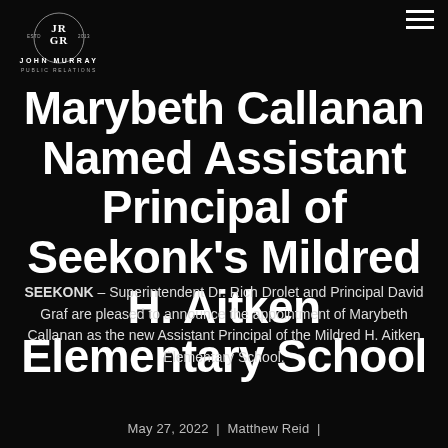[Figure (logo): John Murray Public Relations logo — stylized JR/GR letterform monogram with ESTD 2013, text JOHN MURRAY PUBLIC RELATIONS below]
Marybeth Callanan Named Assistant Principal of Seekonk's Mildred H. Aitken Elementary School
SEEKONK – Superintendent Dr. Rich Drolet and Principal David Graf are pleased to announce the appointment of Marybeth Callanan as the new Assistant Principal of the Mildred H. Aitken Elementary School.
May 27, 2022  |  Matthew Reid  |